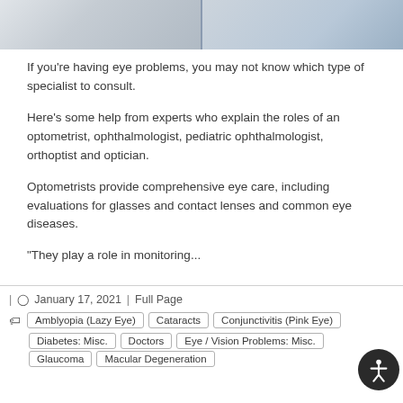[Figure (photo): Two medical professionals in white coats, cropped photo at top of page]
If you're having eye problems, you may not know which type of specialist to consult.
Here's some help from experts who explain the roles of an optometrist, ophthalmologist, pediatric ophthalmologist, orthoptist and optician.
Optometrists provide comprehensive eye care, including evaluations for glasses and contact lenses and common eye diseases.
"They play a role in monitoring...
| January 17, 2021 | Full Page  Amblyopia (Lazy Eye)  Cataracts  Conjunctivitis (Pink Eye)  Diabetes: Misc.  Doctors  Eye / Vision Problems: Misc.  Glaucoma  Macular Degeneration